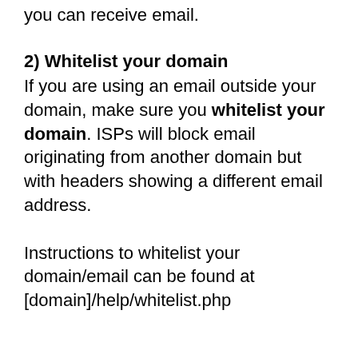you can receive email.
2) Whitelist your domain
If you are using an email outside your domain, make sure you whitelist your domain. ISPs will block email originating from another domain but with headers showing a different email address.
Instructions to whitelist your domain/email can be found at [domain]/help/whitelist.php
3) Your email settings are wrong
If you don't…